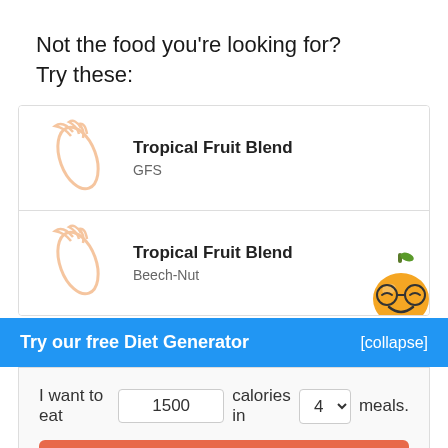Not the food you're looking for?
Try these:
Tropical Fruit Blend — GFS
Tropical Fruit Blend — Beech-Nut
Try our free Diet Generator
[collapse]
I want to eat 1500 calories in 4 meals.
Generate